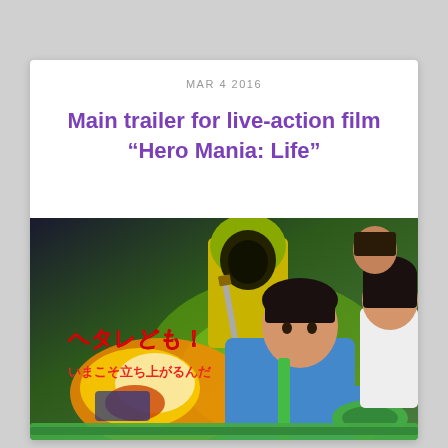MAR 4 2016
Main trailer for live-action film “Hero Mania: Life”
[Figure (photo): Movie poster for Hero Mania: Life featuring characters in action poses with Japanese text ヘタレども！ and いまこそ立ち上がるんだ, showing fight scenes with explosions and various characters including a masked villain and heroes in colorful costumes]